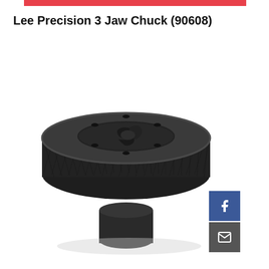Lee Precision 3 Jaw Chuck (90608)
[Figure (photo): Product photo of Lee Precision 3 Jaw Chuck (model 90608), a black metal chuck with knurled cylindrical body, flat circular top plate with six mounting holes and a three-jaw mechanism visible in the center, and a cylindrical base stub at the bottom. The chuck is photographed on a white background.]